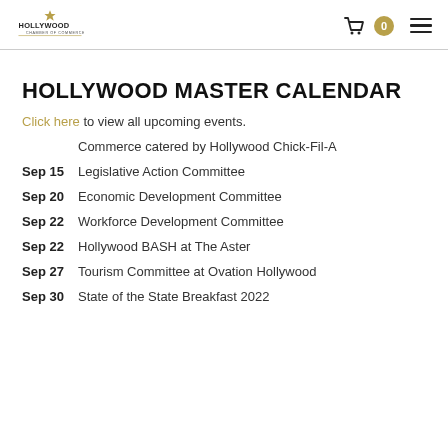Hollywood Chamber of Commerce — navigation header
HOLLYWOOD MASTER CALENDAR
Click here to view all upcoming events.
Commerce catered by Hollywood Chick-Fil-A
Sep 15 — Legislative Action Committee
Sep 20 — Economic Development Committee
Sep 22 — Workforce Development Committee
Sep 22 — Hollywood BASH at The Aster
Sep 27 — Tourism Committee at Ovation Hollywood
Sep 30 — State of the State Breakfast 2022